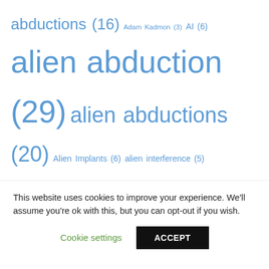[Figure (infographic): Tag cloud of paranormal/alien-themed topics with varying font sizes indicating frequency. Tags shown in blue with counts in parentheses: abductions (16), Adam Kadmon (3), AI (6), alien abduction (29), alien abductions (20), Alien Implants (6), alien interference (5), alien love bite (62), Alien Parasites (6), aliens (8), anomalous trauma support group (4), Archons (9), artificial intelligence (3), Barbara Bartholic (5), Cassie (3), clones (3), Colleen Johnstone (5), cults (5), Dark Cupid (9), Dark Side of Cupid (16), Dr. Corrado Malanga (7), emotional vampirism (5), energy vampirism (9), ET's (6), Eve Lorgen (4), false twin flame (4), false twin flames (5), grove (7), hyperdimensional interference (11)]
This website uses cookies to improve your experience. We'll assume you're ok with this, but you can opt-out if you wish.
Cookie settings
ACCEPT